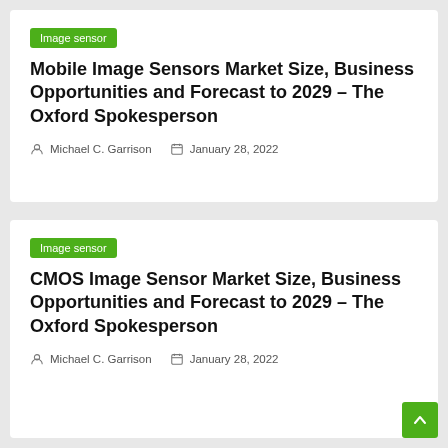Image sensor
Mobile Image Sensors Market Size, Business Opportunities and Forecast to 2029 – The Oxford Spokesperson
Michael C. Garrison   January 28, 2022
Image sensor
CMOS Image Sensor Market Size, Business Opportunities and Forecast to 2029 – The Oxford Spokesperson
Michael C. Garrison   January 28, 2022